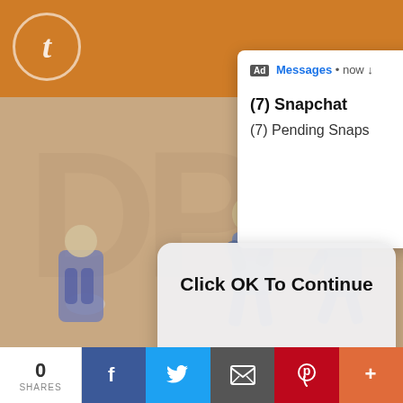[Figure (screenshot): Tumblr mobile app screenshot showing an orange header with the Tumblr 't' logo, a Snapchat ad notification popup showing '(7) Snapchat (7) Pending Snaps' with the Snapchat ghost icon, an anime character (Danny Phantom style) background, a 'Click OK To Continue' dialog overlay, hashtag text '#These are the cutest humans. #this is such an inspiring show only star at it more #Danny Phantom', '5K notes · View notes', and a bottom share bar with 0 SHARES, Facebook, Twitter, Email, Pinterest, and More buttons.]
#These are the cutest humans. #this is such an inspiring show only star at it more #Danny Phantom
5K notes · View notes